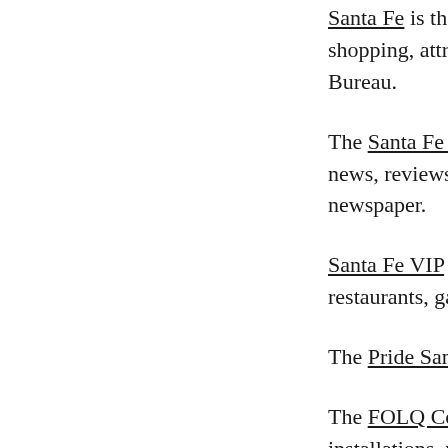Santa Fe is the official travel site for the ci shopping, attractions and events informat Bureau.
The Santa Fe Reporter is the weekly altern news, reviews, events and listings. The San newspaper.
Santa Fe VIP is a blog/events calendar and restaurants, galleries and nightlife specials
The Pride Santa Fe Parade & Festival takes
The FOLQ Community Center, a Queer Q installations, potluck and game nights, tea gaterings and other events to "empower an